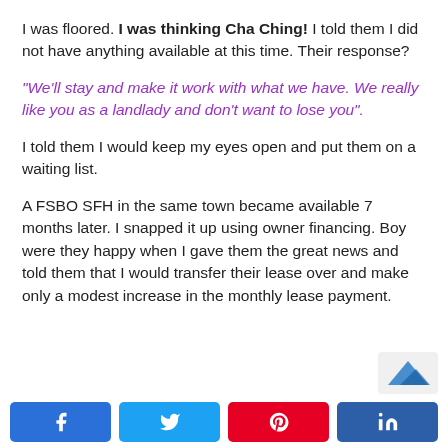I was floored. I was thinking Cha Ching! I told them I did not have anything available at this time. Their response?
“We’ll stay and make it work with what we have. We really like you as a landlady and don’t want to lose you”.
I told them I would keep my eyes open and put them on a waiting list.
A FSBO SFH in the same town became available 7 months later. I snapped it up using owner financing. Boy were they happy when I gave them the great news and told them that I would transfer their lease over and make only a modest increase in the monthly lease payment.